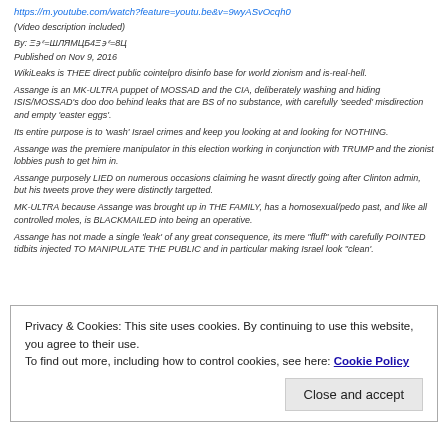https://m.youtube.com/watch?feature=youtu.be&v=9wyASvOcqh0
(Video description included)
By: Ξ϶ᵋ=ШЛЯМЦБ4Ξ϶ᵋ=8Ц
Published on Nov 9, 2016
WikiLeaks is THEE direct public cointelpro disinfo base for world zionism and is-real-hell.
Assange is an MK-ULTRA puppet of MOSSAD and the CIA, deliberately washing and hiding ISIS/MOSSAD's doo doo behind leaks that are BS of no substance, with carefully 'seeded' misdirection and empty 'easter eggs'.
Its entire purpose is to 'wash' Israel crimes and keep you looking at and looking for NOTHING.
Assange was the premiere manipulator in this election working in conjunction with TRUMP and the zionist lobbies push to get him in.
Assange purposely LIED on numerous occasions claiming he wasnt directly going after Clinton admin, but his tweets prove they were distinctly targetted.
MK-ULTRA because Assange was brought up in THE FAMILY, has a homosexual/pedo past, and like all controlled moles, is BLACKMAILED into being an operative.
Assange has not made a single 'leak' of any great consequence, its mere "fluff" with carefully POINTED tidbits injected TO MANIPULATE THE PUBLIC and in particular making Israel look "clean'.
Privacy & Cookies: This site uses cookies. By continuing to use this website, you agree to their use.
To find out more, including how to control cookies, see here: Cookie Policy
Close and accept